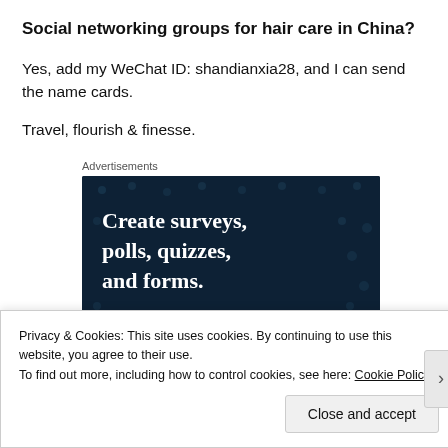Social networking groups for hair care in China?
Yes, add my WeChat ID: shandianxia28, and I can send the name cards.
Travel, flourish & finesse.
Advertisements
[Figure (other): Advertisement banner with dark navy background and white bold serif text reading: Create surveys, polls, quizzes, and forms.]
Privacy & Cookies: This site uses cookies. By continuing to use this website, you agree to their use.
To find out more, including how to control cookies, see here: Cookie Policy
Close and accept